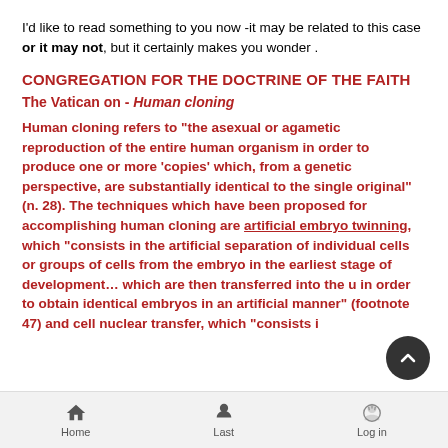I'd like to read something to you now -it may be related to this case or it may not, but it certainly makes you wonder .
CONGREGATION FOR THE DOCTRINE OF THE FAITH
The Vatican on - Human cloning
Human cloning refers to “the asexual or agametic reproduction of the entire human organism in order to produce one or more ‘copies’ which, from a genetic perspective, are substantially identical to the single original” (n. 28). The techniques which have been proposed for accomplishing human cloning are artificial embryo twinning, which “consists in the artificial separation of individual cells or groups of cells from the embryo in the earliest stage of development… which are then transferred into the u in order to obtain identical embryos in an artificial manner” (footnote 47) and cell nuclear transfer, which “consists i
Home  Last  Log in